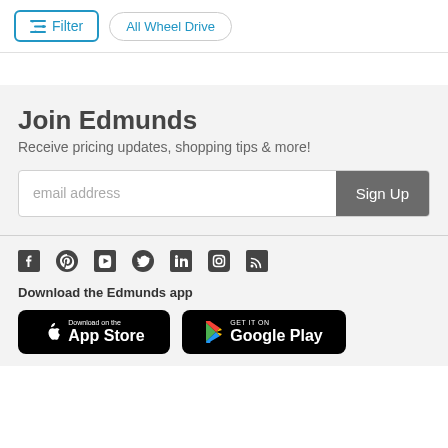[Figure (screenshot): Filter button with sliders icon and 'All Wheel Drive' pill button]
Join Edmunds
Receive pricing updates, shopping tips & more!
[Figure (other): Email address input field with Sign Up button]
[Figure (other): Social media icons: Facebook, Pinterest, YouTube, Twitter, LinkedIn, Instagram, RSS]
Download the Edmunds app
[Figure (other): App Store and Google Play download badges]